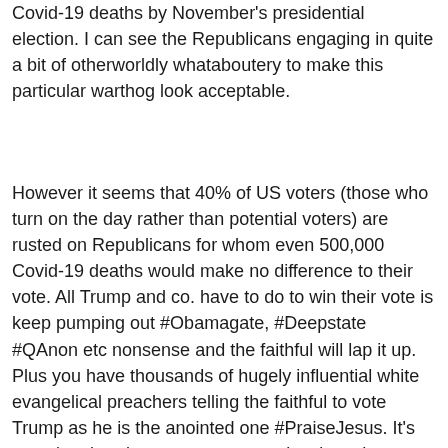Covid-19 deaths by November's presidential election. I can see the Republicans engaging in quite a bit of otherworldly whataboutery to make this particular warthog look acceptable.
However it seems that 40% of US voters (those who turn on the day rather than potential voters) are rusted on Republicans for whom even 500,000 Covid-19 deaths would make no difference to their vote. All Trump and co. have to do to win their vote is keep pumping out #Obamagate, #Deepstate #QAnon etc nonsense and the faithful will lap it up. Plus you have thousands of hugely influential white evangelical preachers telling the faithful to vote Trump as he is the anointed one #PraiseJesus. It’s amazing that democracy even works given the craziness of so many voters.